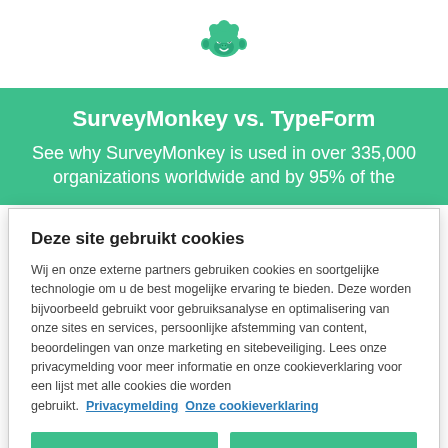[Figure (logo): SurveyMonkey green monkey logo icon]
SurveyMonkey vs. TypeForm
See why SurveyMonkey is used in over 335,000 organizations worldwide and by 95% of the
Deze site gebruikt cookies
Wij en onze externe partners gebruiken cookies en soortgelijke technologie om u de best mogelijke ervaring te bieden. Deze worden bijvoorbeeld gebruikt voor gebruiksanalyse en optimalisering van onze sites en services, persoonlijke afstemming van content, beoordelingen van onze marketing en sitebeveiliging. Lees onze privacymelding voor meer informatie en onze cookieverklaring voor een lijst met alle cookies die worden gebruikt.  Privacymelding  Onze cookieverklaring
Cookievoorkeuren
Alle cookies accepteren